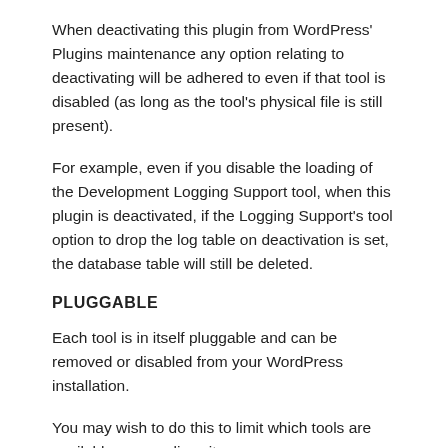When deactivating this plugin from WordPress' Plugins maintenance any option relating to deactivating will be adhered to even if that tool is disabled (as long as the tool's physical file is still present).
For example, even if you disable the loading of the Development Logging Support tool, when this plugin is deactivated, if the Logging Support's tool option to drop the log table on deactivation is set, the database table will still be deleted.
PLUGGABLE
Each tool is in itself pluggable and can be removed or disabled from your WordPress installation.
You may wish to do this to limit which tools are available on your live site.